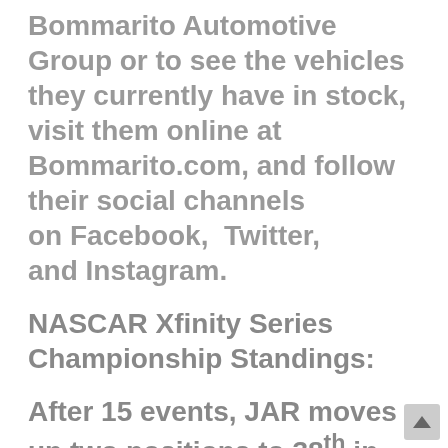Bommarito Automotive Group or to see the vehicles they currently have in stock, visit them online at Bommarito.com, and follow their social channels on Facebook,  Twitter, and Instagram.
NASCAR Xfinity Series Championship Standings:
After 15 events, JAR moves up two positions to 38th in the NXS Owner Standings after Reddick's 15th place finish on Saturday afternoon.